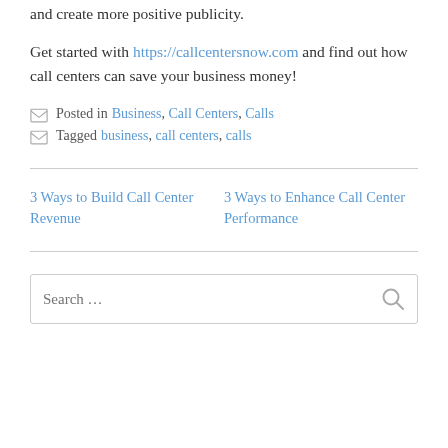and create more positive publicity.
Get started with https://callcentersnow.com and find out how call centers can save your business money!
Posted in Business, Call Centers, Calls
Tagged business, call centers, calls
3 Ways to Build Call Center Revenue
3 Ways to Enhance Call Center Performance
Search ...